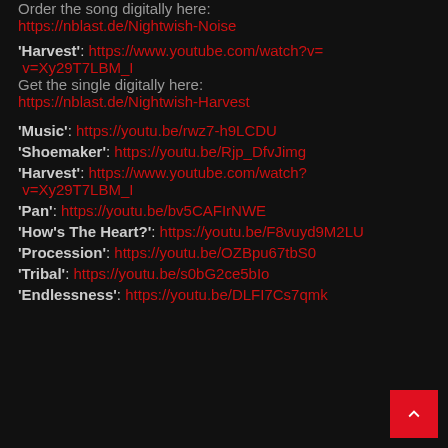Order the song digitally here: https://nblast.de/Nightwish-Noise
'Harvest': https://www.youtube.com/watch?v=Xy29T7LBM_I
Get the single digitally here:
https://nblast.de/Nightwish-Harvest
'Music': https://youtu.be/rwz7-h9LCDU
'Shoemaker': https://youtu.be/Rjp_DfvJimg
'Harvest': https://www.youtube.com/watch?v=Xy29T7LBM_I
'Pan': https://youtu.be/bv5CAFIrNWE
'How's The Heart?': https://youtu.be/F8vuyd9M2LU
'Procession': https://youtu.be/OZBpu67tbS0
'Tribal': https://youtu.be/s0bG2ce5bIo
'Endlessness': https://youtu.be/DLFI7Cs7qmk